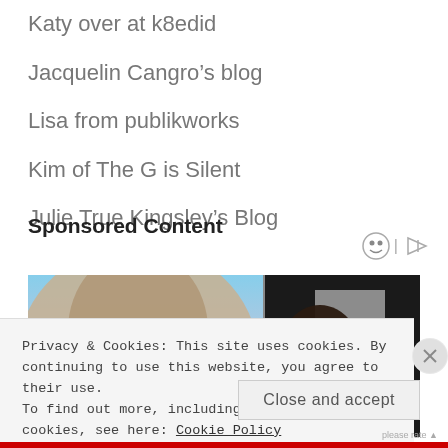Katy over at k8edid
Jacquelin Cangro’s blog
Lisa from publikworks
Kim of The G is Silent
Julie True Kingsley’s Blog
Sponsored Content
[Figure (photo): Two side-by-side photos: left shows a woman with long hair in outdoor/blue sky setting, right shows a dark-haired person in low-light setting]
Privacy & Cookies: This site uses cookies. By continuing to use this website, you agree to their use.
To find out more, including how to control cookies, see here: Cookie Policy
Close and accept